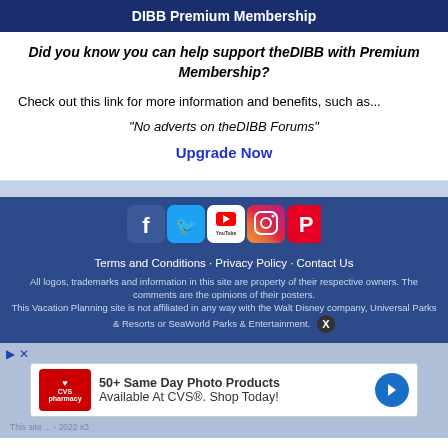DIBB Premium Membership
Did you know you can help support theDIBB with Premium Membership?
Check out this link for more information and benefits, such as...
"No adverts on theDIBB Forums"
Upgrade Now
[Figure (logo): Social media icons: Facebook, Twitter, YouTube, Instagram, Pinterest]
Terms and Conditions · Privacy Policy · Contact Us
All logos, trademarks and information in this site are property of their respective owners. The comments are the opinions of their posters. This Vacation Planning site is not affiliated in any way with the Walt Disney company, Universal Parks & Resorts or SeaWorld Parks & Entertainment.
[Figure (screenshot): CVS advertisement: 50+ Same Day Photo Products Available At CVS®. Shop Today!]
This site ... 2022 x3